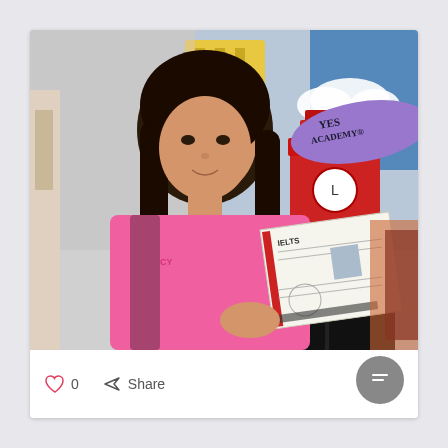[Figure (photo): A young woman with long dark hair wearing a pink t-shirt stands in front of a colorful mural featuring Big Ben and the YES Academy logo. She is holding an IELTS certificate in a plastic sleeve.]
0
Share